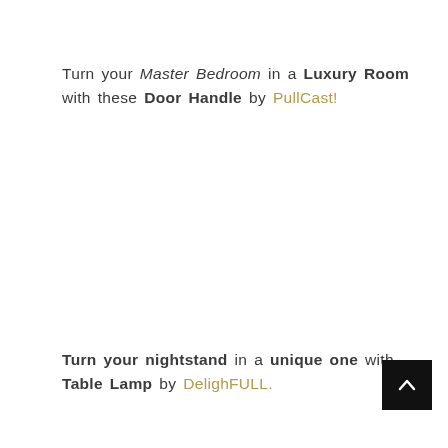Turn your Master Bedroom in a Luxury Room with these Door Handle by PullCast!
Turn your nightstand in a unique one with Table Lamp by DelighFULL.